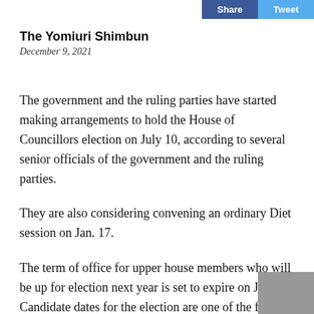Share | Tweet
The Yomiuri Shimbun
December 9, 2021
The government and the ruling parties have started making arrangements to hold the House of Councillors election on July 10, according to several senior officials of the government and the ruling parties.
They are also considering convening an ordinary Diet session on Jan. 17.
The term of office for upper house members who will be up for election next year is set to expire on July 25. Candidate dates for the election are one of the five Sundays from June 26 to July 24. The